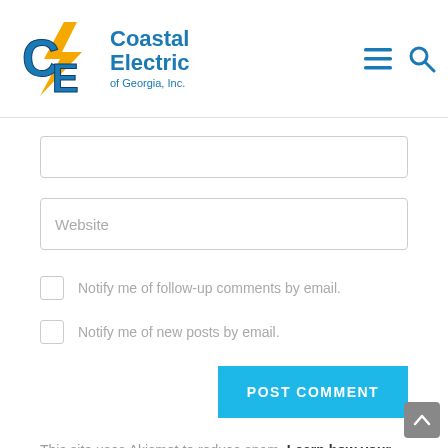[Figure (logo): Coastal Electric of Georgia, Inc. logo with blue CE letters and golden lightning bolt, company name in blue text]
Website
Notify me of follow-up comments by email.
Notify me of new posts by email.
POST COMMENT
This site uses Akismet to reduce spam. Learn how your comment data is processed.